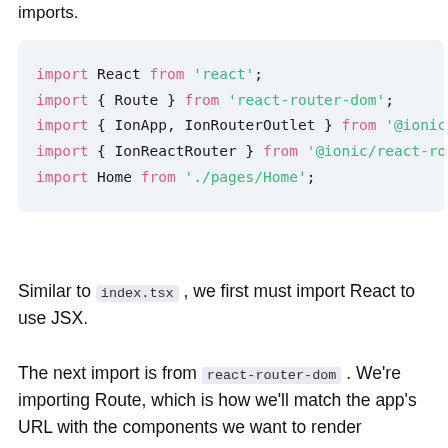imports.
[Figure (screenshot): Code block showing JavaScript import statements: import React from 'react'; import { Route } from 'react-router-dom'; import { IonApp, IonRouterOutlet } from '@ionic/r...; import { IonReactRouter } from '@ionic/react-rout...; import Home from './pages/Home';]
Similar to index.tsx , we first must import React to use JSX.
The next import is from react-router-dom . We're importing Route, which is how we'll match the app's URL with the components we want to render